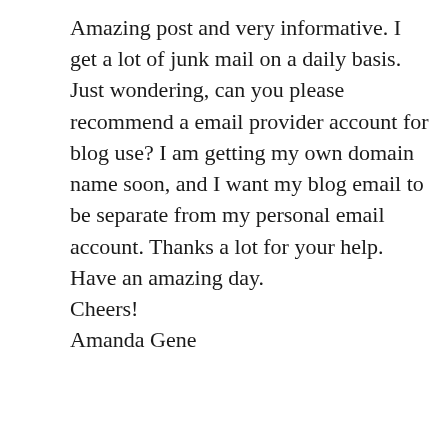Amazing post and very informative. I get a lot of junk mail on a daily basis. Just wondering, can you please recommend a email provider account for blog use? I am getting my own domain name soon, and I want my blog email to be separate from my personal email account. Thanks a lot for your help. Have an amazing day.
Cheers!
Amanda Gene
★ Liked by 1 person
Log in to Reply
Glen ▲